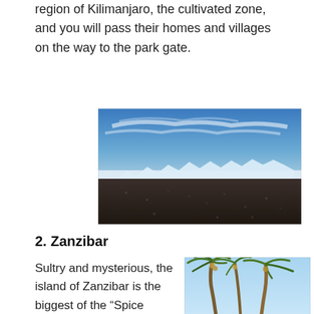region of Kilimanjaro, the cultivated zone, and you will pass their homes and villages on the way to the park gate.
[Figure (photo): Wide landscape photo showing the summit area of Kilimanjaro with dark volcanic rock and scree in the foreground, a wall of glaciers and snow in the middle ground, and a blue sky with wispy clouds above.]
2. Zanzibar
Sultry and mysterious, the island of Zanzibar is the biggest of the “Spice Islands”.
[Figure (photo): Photo of tall palm trees photographed from below against a bright blue sky, showing coconut palms with fronds spread out.]